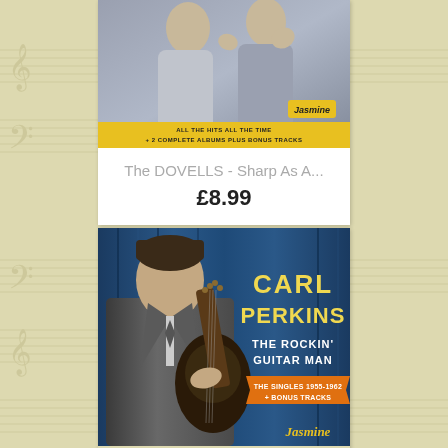[Figure (photo): Album cover for The Dovells - Sharp As A... showing two young men looking upward, with a yellow banner at the bottom reading 'ALL THE HITS ALL THE TIME + 2 COMPLETE ALBUMS PLUS BONUS TRACKS' and a Jasmine logo]
The DOVELLS - Sharp As A...
£8.99
[Figure (photo): Album cover for Carl Perkins - The Rockin' Guitar Man, showing Carl Perkins holding a guitar against a blue curtain background, with text 'THE SINGLES 1955-1962 + BONUS TRACKS' and Jasmine logo]